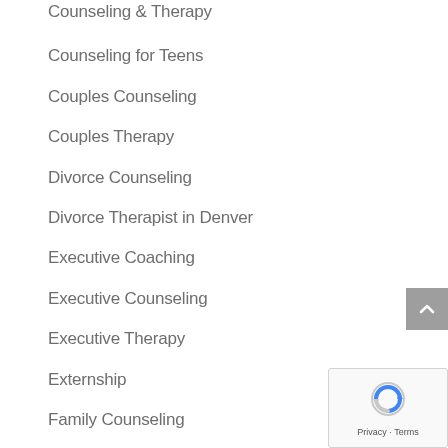Counseling & Therapy
Counseling for Teens
Couples Counseling
Couples Therapy
Divorce Counseling
Divorce Therapist in Denver
Executive Coaching
Executive Counseling
Executive Therapy
Externship
Family Counseling